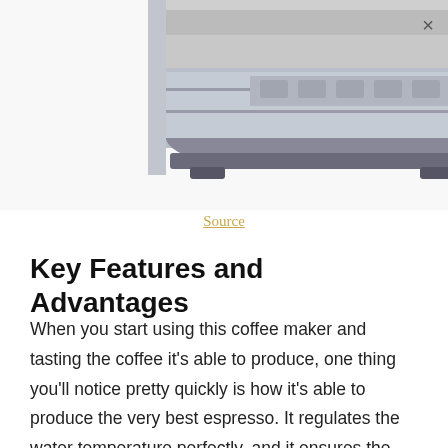[Figure (photo): Bottom portion of a silver/stainless steel espresso machine or coffee maker, showing the base and feet, with a glossy metallic finish.]
Source
Key Features and Advantages
When you start using this coffee maker and tasting the coffee it's able to produce, one thing you'll notice pretty quickly is how it's able to produce the very best espresso. It regulates the water temperature perfectly, and it ensures the